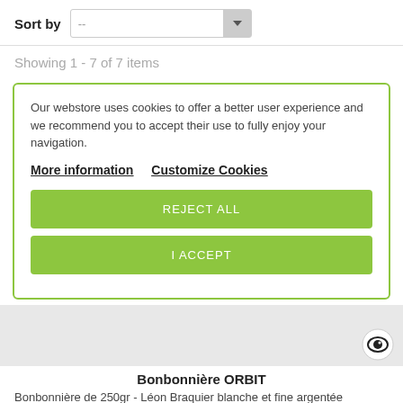Sort by  --
Showing 1 - 7 of 7 items
Our webstore uses cookies to offer a better user experience and we recommend you to accept their use to fully enjoy your navigation.
More information   Customize Cookies
REJECT ALL
I ACCEPT
Bonbonnière ORBIT
Bonbonnière de 250gr - Léon Braquier blanche et fine argentée